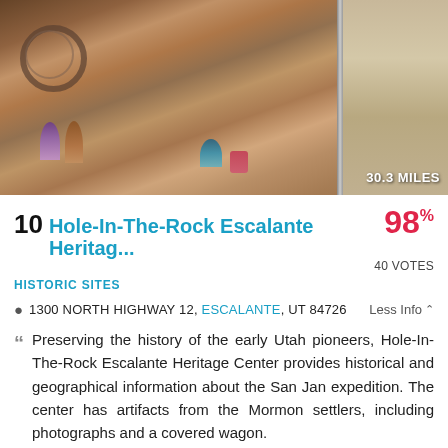[Figure (photo): Photo of Hole-In-The-Rock Escalante Heritage Center showing a diorama/mural of early Utah pioneers with covered wagon on red rock terrain, and a stone wall building exterior on the right side. Distance badge shows 30.3 MILES.]
10 Hole-In-The-Rock Escalante Heritag... 98%
40 VOTES
HISTORIC SITES
1300 NORTH HIGHWAY 12, ESCALANTE, UT 84726  Less Info
Preserving the history of the early Utah pioneers, Hole-In-The-Rock Escalante Heritage Center provides historical and geographical information about the San Jan expedition. The center has artifacts from the Mormon settlers, including photographs and a covered wagon.